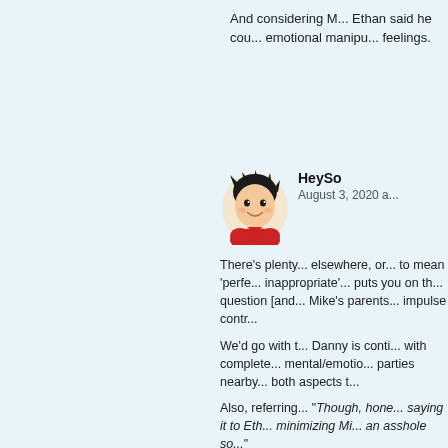And considering M... Ethan said he cou... emotional manipu... feelings.
[Figure (illustration): Cartoon avatar of a young male character with black spiky hair and red outfit, smiling]
HeySo
August 3, 2020 a...
There's plenty... elsewhere, or... to mean 'perfe... inappropriate'... puts you on th... question [and... Mike's parents... impulse contr...

We'd go with t... Danny is conti... with complete... mental/emotio... parties nearby... both aspects t...

Also, referring... "Though, hone... saying it to Eth... minimizing Mi... an asshole so...